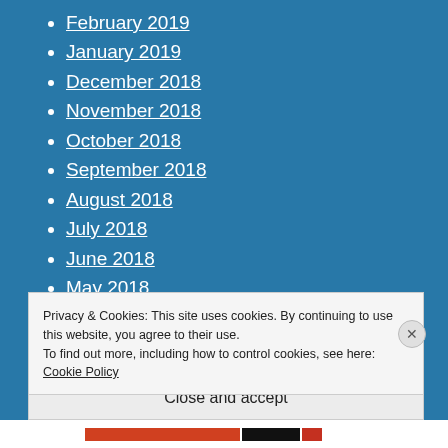February 2019
January 2019
December 2018
November 2018
October 2018
September 2018
August 2018
July 2018
June 2018
May 2018
April 2018
Privacy & Cookies: This site uses cookies. By continuing to use this website, you agree to their use.
To find out more, including how to control cookies, see here: Cookie Policy
Close and accept